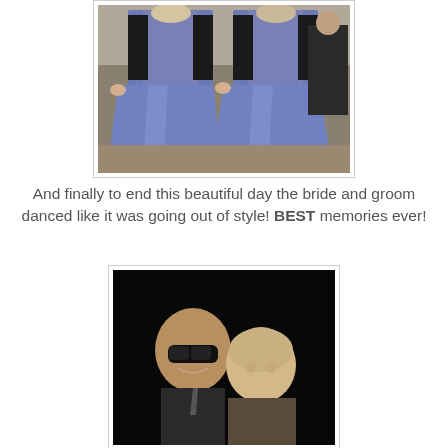[Figure (photo): Two women in blue satin bridesmaids gowns holding up the skirts of their dresses, with people in the background, taken indoors at a wedding venue.]
And finally to end this beautiful day the bride and groom danced like it was going out of style!  BEST memories ever!
[Figure (photo): A man wearing sunglasses smiling with a woman, photographed against a dark background at a wedding reception.]